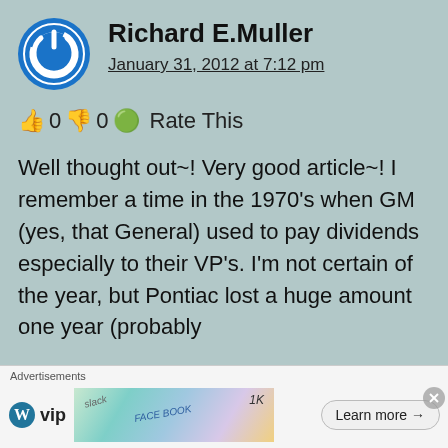[Figure (illustration): Circular blue power button icon avatar for user Richard E.Muller]
Richard E.Muller
January 31, 2012 at 7:12 pm
👍 0 👎 0 ℹ Rate This
Well thought out~! Very good article~! I remember a time in the 1970's when GM (yes, that General) used to pay dividends especially to their VP's. I'm not certain of the year, but Pontiac lost a huge amount one year (probably
[Figure (advertisement): WordPress VIP advertisement banner with logo, colorful background images of books/apps, and a Learn more arrow button]
Advertisements